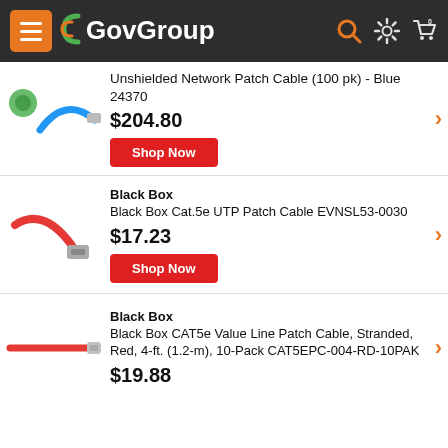GovGroup
Unshielded Network Patch Cable (100 pk) - Blue 24370
$204.80
Shop Now
Black Box
Black Box Cat.5e UTP Patch Cable EVNSL53-0030
$17.23
Shop Now
Black Box
Black Box CAT5e Value Line Patch Cable, Stranded, Red, 4-ft. (1.2-m), 10-Pack CAT5EPC-004-RD-10PAK
$19.88